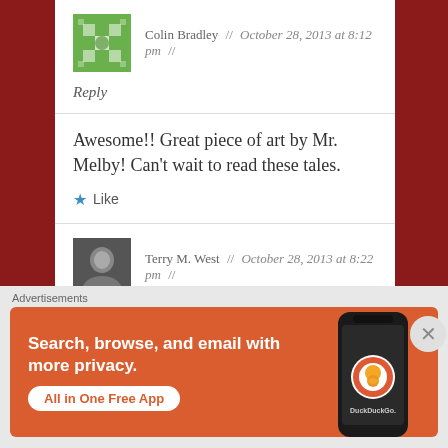Colin Bradley // October 28, 2013 at 8:12 pm //
Reply
Awesome!! Great piece of art by Mr. Melby! Can't wait to read these tales.
Like
Terry M. West // October 28, 2013 at 8:22 pm //
Advertisements
[Figure (screenshot): DuckDuckGo advertisement banner: 'Search, browse, and email with more privacy. All in One Free App' with DuckDuckGo logo and phone mockup on orange background.]